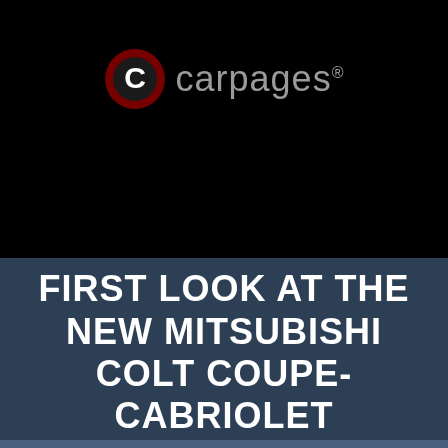[Figure (logo): Carpages logo: red circle with white C letter icon on left, grey 'carpages' text on right with registered trademark symbol, on black background]
FIRST LOOK AT THE NEW MITSUBISHI COLT COUPE-CABRIOLET